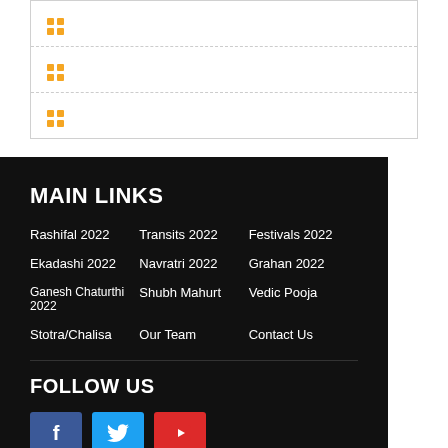[Figure (other): Three rows each containing an orange 2x2 grid icon, separated by dashed lines, inside a bordered white box]
MAIN LINKS
Rashifal 2022
Transits 2022
Festivals 2022
Ekadashi 2022
Navratri 2022
Grahan 2022
Ganesh Chaturthi 2022
Shubh Mahurt
Vedic Pooja
Stotra/Chalisa
Our Team
Contact Us
FOLLOW US
[Figure (other): Three social media buttons: Facebook (blue f), Twitter (light blue bird icon), YouTube (red play icon)]